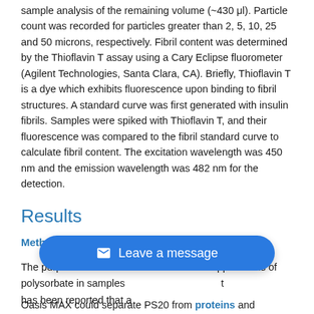sample analysis of the remaining volume (~430 μl). Particle count was recorded for particles greater than 2, 5, 10, 25 and 50 microns, respectively. Fibril content was determined by the Thioflavin T assay using a Cary Eclipse fluorometer (Agilent Technologies, Santa Clara, CA). Briefly, Thioflavin T is a dye which exhibits fluorescence upon binding to fibril structures. A standard curve was first generated with insulin fibrils. Samples were spiked with Thioflavin T, and their fluorescence was compared to the fibril standard curve to calculate fibril content. The excitation wavelength was 450 nm and the emission wavelength was 482 nm for the detection.
Results
Method development
The purpose of this method is to determine ppm levels of polysorbate in samples ... that has been reported that a ... Oasis MAX could separate PS20 from proteins and